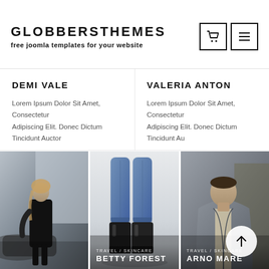GLOBBERSTHEMES
free joomla templates for your website
DEMI VALE
Lorem Ipsum Dolor Sit Amet, Consectetur Adipiscing Elit. Donec Dictum Tincidunt Auctor
VALERIA ANTON
Lorem Ipsum Dolor Sit Amet, Consectetur Adipiscing Elit. Donec Dictum Tincidunt Au
[Figure (photo): Three fashion photos in a grid: left - woman in black outfit leaning on car, middle - close-up of jeans and boots with label 'TRAVEL SKINCARE / BETTY FOREST', right - man in grey jacket with label 'TRAVEL SKINCARE / ARNO MARE' and scroll-to-top button overlay]